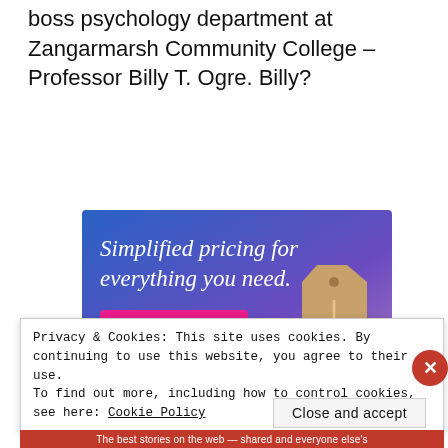boss psychology department at Zangarmarsh Community College – Professor Billy T. Ogre. Billy?
[Figure (infographic): Advertisement banner with gradient blue-to-purple background, white text 'Simplified pricing for everything you need.', a pink 'Build Your Website' button, and a tan price tag graphic on the right.]
Privacy & Cookies: This site uses cookies. By continuing to use this website, you agree to their use.
To find out more, including how to control cookies, see here: Cookie Policy
Close and accept